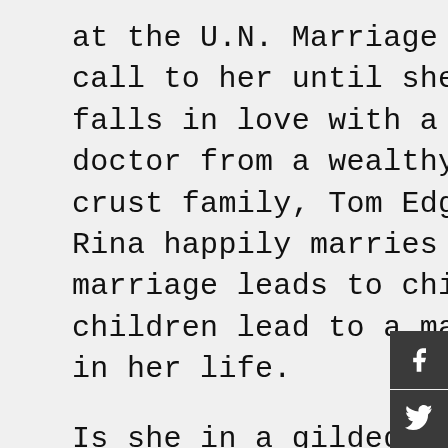at the U.N. Marriage does not call to her until she meets and falls in love with a dedicated doctor from a wealthy upper-crust family, Tom Edgeworth. Rina happily marries him, and marriage leads to children, and children lead to a major change in her life.
Is she in a gilded cage? Yes, if she lets herself be. A chance opportunity leads her to work covertly for the FBI. The FBI is investigating Communist groups and Soviet...